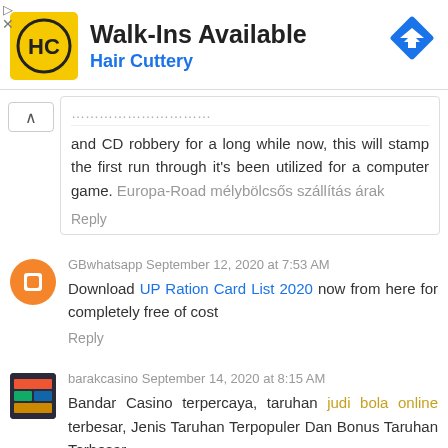[Figure (infographic): Hair Cuttery advertisement banner: yellow logo with HC initials, text 'Walk-Ins Available' and 'Hair Cuttery' in blue, blue diamond direction icon on right]
and CD robbery for a long while now, this will stamp the first run through it's been utilized for a computer game. Europa-Road mélybölcsős szállítás árak
Reply
GBwhatsapp  September 12, 2020 at 7:53 AM
Download UP Ration Card List 2020 now from here for completely free of cost
Reply
barakcasino  September 14, 2020 at 8:15 AM
Bandar Casino terpercaya, taruhan judi bola online terbesar, Jenis Taruhan Terpopuler Dan Bonus Taruhan Terbesar.